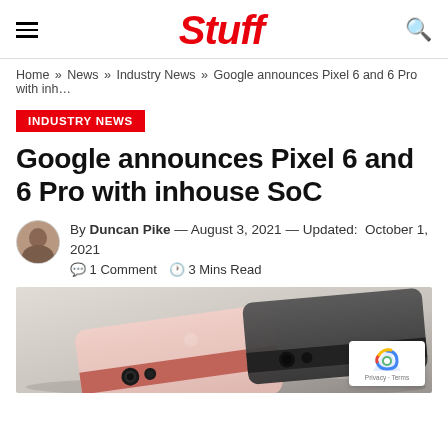Stuff
Home » News » Industry News » Google announces Pixel 6 and 6 Pro with inh…
INDUSTRY NEWS
Google announces Pixel 6 and 6 Pro with inhouse SoC
By Duncan Pike — August 3, 2021 — Updated: October 1, 2021  1 Comment  3 Mins Read
[Figure (photo): Two Google Pixel 6 phones (one pink/coral, one dark gray) lying flat on a light gray surface, showing their distinctive horizontal camera bar design on the back.]